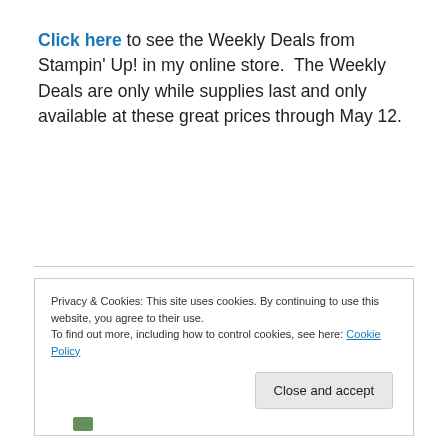Click here to see the Weekly Deals from Stampin' Up! in my online store.  The Weekly Deals are only while supplies last and only available at these great prices through May 12.
Privacy & Cookies: This site uses cookies. By continuing to use this website, you agree to their use.
To find out more, including how to control cookies, see here: Cookie Policy